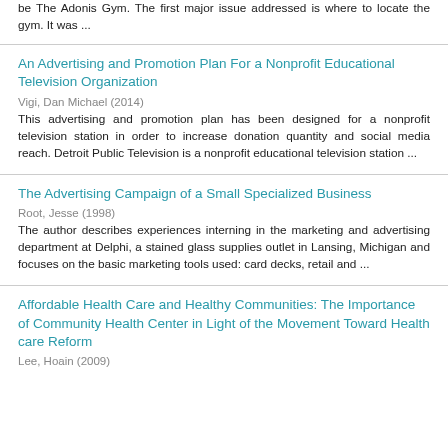be The Adonis Gym. The first major issue addressed is where to locate the gym. It was ...
An Advertising and Promotion Plan For a Nonprofit Educational Television Organization
Vigi, Dan Michael (2014)
This advertising and promotion plan has been designed for a nonprofit television station in order to increase donation quantity and social media reach. Detroit Public Television is a nonprofit educational television station ...
The Advertising Campaign of a Small Specialized Business
Root, Jesse (1998)
The author describes experiences interning in the marketing and advertising department at Delphi, a stained glass supplies outlet in Lansing, Michigan and focuses on the basic marketing tools used: card decks, retail and ...
Affordable Health Care and Healthy Communities: The Importance of Community Health Center in Light of the Movement Toward Health care Reform
Lee, Hoain (2009)